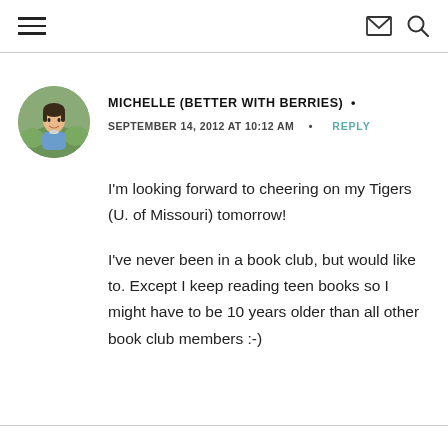hamburger menu, email icon, search icon
MICHELLE (BETTER WITH BERRIES) •
SEPTEMBER 14, 2012 AT 10:12 AM • REPLY
I'm looking forward to cheering on my Tigers (U. of Missouri) tomorrow!
I've never been in a book club, but would like to. Except I keep reading teen books so I might have to be 10 years older than all other book club members :-)